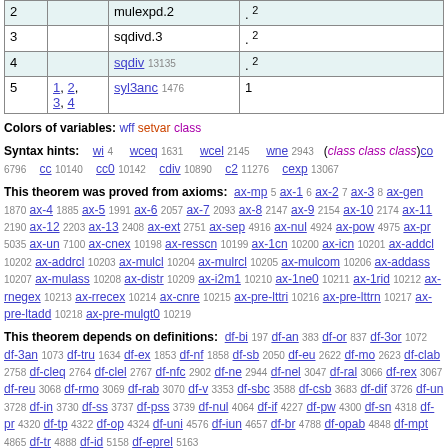|  |  |  |  |
| --- | --- | --- | --- |
| 2 |  | mulexpd.2 | . 2 |
| 3 |  | sqdivd.3 | . 2 |
| 4 |  | sqdiv 13135 | . 2 |
| 5 | 1, 2, 3, 4 | syl3anc 1476 | 1 |
Colors of variables: wff setvar class
Syntax hints: wi 4  wceq 1631  wcel 2145  wne 2943  (class class class)co 6796  cc 10140  cc0 10142  cdiv 10890  c2 11276  cexp 13067
This theorem was proved from axioms: ax-mp 5 ax-1 6 ax-2 7 ax-3 8 ax-gen 1870 ax-4 1885 ax-5 1991 ax-6 2057 ax-7 2093 ax-8 2147 ax-9 2154 ax-10 2174 ax-11 2190 ax-12 2203 ax-13 2408 ax-ext 2751 ax-sep 4916 ax-nul 4924 ax-pow 4975 ax-pr 5035 ax-un 7100 ax-cnex 10198 ax-resscn 10199 ax-1cn 10200 ax-icn 10201 ax-addcl 10202 ax-addrcl 10203 ax-mulcl 10204 ax-mulrcl 10205 ax-mulcom 10206 ax-addass 10207 ax-mulass 10208 ax-distr 10209 ax-i2m1 10210 ax-1ne0 10211 ax-1rid 10212 ax-rnegex 10213 ax-rrecex 10214 ax-cnre 10215 ax-pre-lttri 10216 ax-pre-lttrn 10217 ax-pre-ltadd 10218 ax-pre-mulgt0 10219
This theorem depends on definitions: df-bi 197 df-an 383 df-or 837 df-3or 1072 df-3an 1073 df-tru 1634 df-ex 1853 df-nf 1858 df-sb 2050 df-eu 2622 df-mo 2623 df-clab 2758 df-cleq 2764 df-clel 2767 df-nfc 2902 df-ne 2944 df-nel 3047 df-ral 3066 df-rex 3067 df-reu 3068 df-rmo 3069 df-rab 3070 df-v 3353 df-sbc 3588 df-csb 3683 df-dif 3726 df-un 3728 df-in 3730 df-ss 3737 df-pss 3739 df-nul 4064 df-if 4227 df-pw 4300 df-sn 4318 df-pr 4320 df-tp 4322 df-op 4324 df-uni 4576 df-iun 4657 df-br 4788 df-opab 4848 df-mpt 4865 df-tr 4888 df-id 5158 df-eprel 5163